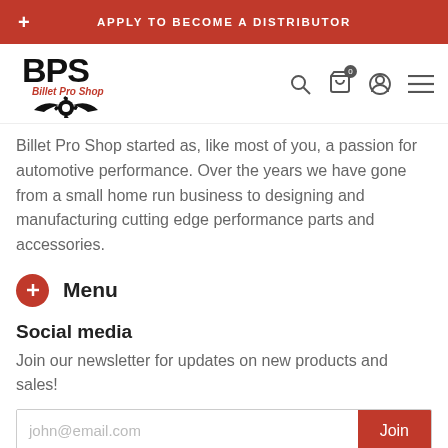+ APPLY TO BECOME A DISTRIBUTOR
[Figure (logo): BPS Billet Pro Shop logo with gear and wing design]
Billet Pro Shop started as, like most of you, a passion for automotive performance. Over the years we have gone from a small home run business to designing and manufacturing cutting edge performance parts and accessories.
Menu
Social media
Join our newsletter for updates on new products and sales!